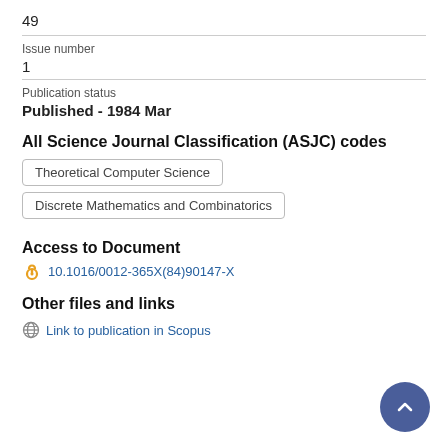49
Issue number
1
Publication status
Published - 1984 Mar
All Science Journal Classification (ASJC) codes
Theoretical Computer Science
Discrete Mathematics and Combinatorics
Access to Document
10.1016/0012-365X(84)90147-X
Other files and links
Link to publication in Scopus